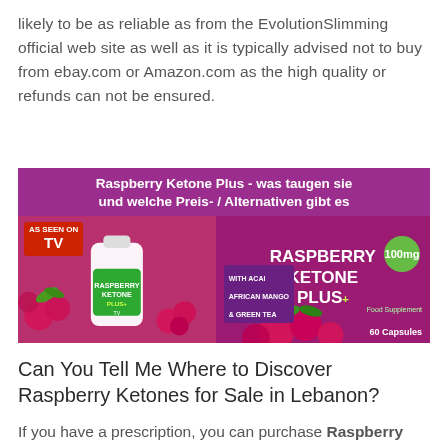likely to be as reliable as from the EvolutionSlimming official web site as well as it is typically advised not to buy from ebay.com or Amazon.com as the high quality or refunds can not be ensured.
[Figure (photo): Raspberry Ketone Plus product advertisement image showing a bottle, product box, and raspberries on a purple background with German text headline: 'Raspberry Ketone Plus - was taugen sie und welche Preis- / Alternativen gibt es']
Can You Tell Me Where to Discover Raspberry Ketones for Sale in Lebanon?
If you have a prescription, you can purchase Raspberry Ketones for sale at